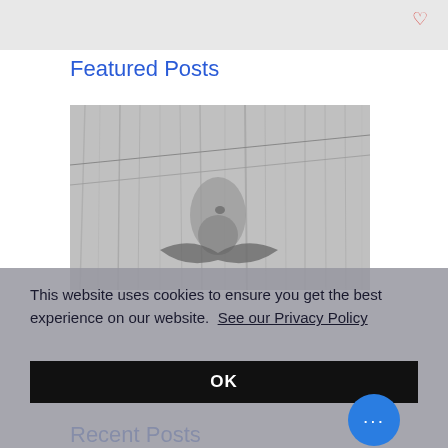[Figure (photo): Top portion of a webpage showing a light grey image area with a red heart/like icon in the top right corner]
Featured Posts
[Figure (photo): Black and white close-up photograph of a nose and mustache against a wooden textured background with diagonal lines. A navigation arrow (>) is visible on the right side.]
This website uses cookies to ensure you get the best experience on our website.  See our Privacy Policy
OK
Recent Posts